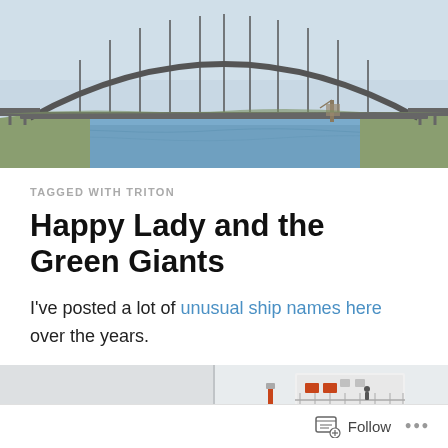[Figure (photo): Aerial/wide view of a large steel arch bridge over water (likely Bayonne Bridge or similar), with calm water below and industrial structures visible. Clear sky background.]
TAGGED WITH TRITON
Happy Lady and the Green Giants
I've posted a lot of unusual ship names here over the years.
[Figure (photo): Partial view of a white ship's bridge/superstructure with railings and equipment visible against a light grey sky.]
Follow   •••